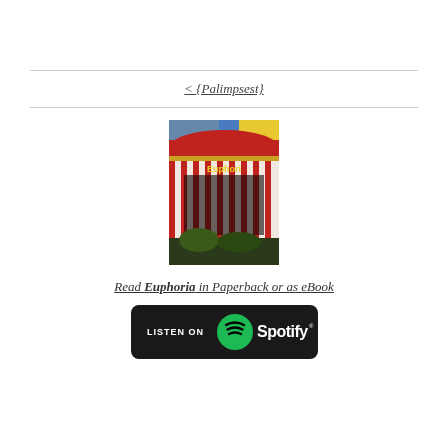< {Palimpsest}
[Figure (photo): Book cover of Euphoria showing red and white striped curtains with decorative valance and text 'Euphori' visible in yellow on the cover]
Read Euphoria in Paperback or as eBook
[Figure (logo): Listen on Spotify button — black rounded rectangle with Spotify logo and text 'LISTEN ON Spotify']